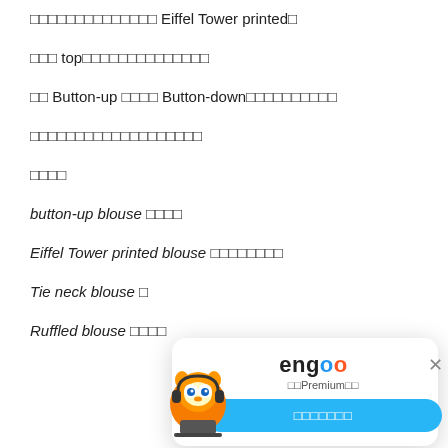□□□□□□□□□□□□□□ Eiffel Tower printed□
□□□ top□□□□□□□□□□□□□□
□□ Button-up □□□□ Button-down□□□□□□□□□□
□□□□□□□□□□□□□□□□□□□
□□□□
button-up blouse □□□□
Eiffel Tower printed blouse □□□□□□□□
Tie neck blouse□
Ruffled blouse □□□□
[Figure (other): Engoo premium popup overlay with mascot owl character, title 'engoo', subtitle showing Premium text, and a blue button]